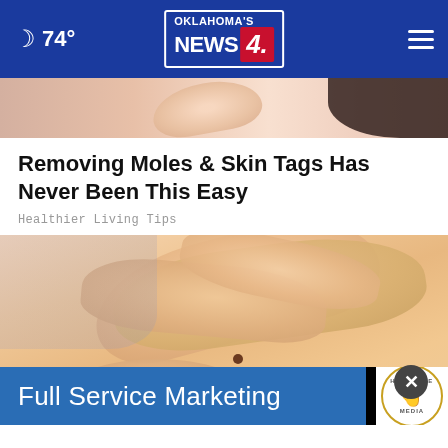74° | Oklahoma's News 4
[Figure (photo): Close-up photo showing hands near a person's face or shoulder area]
Removing Moles & Skin Tags Has Never Been This Easy
Healthier Living Tips
[Figure (photo): Close-up photo of hands pinching skin with a visible mole, with an X close button overlay and Full Service Marketing advertisement banner at the bottom]